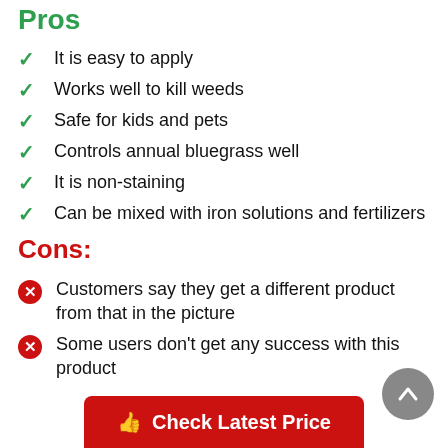Pros
It is easy to apply
Works well to kill weeds
Safe for kids and pets
Controls annual bluegrass well
It is non-staining
Can be mixed with iron solutions and fertilizers
Cons:
Customers say they get a different product from that in the picture
Some users don't get any success with this product
Check Latest Price